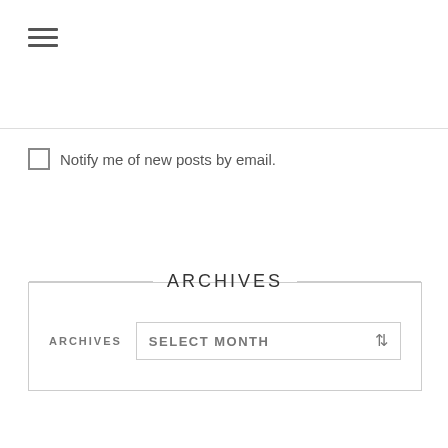[Figure (other): Hamburger menu icon with three horizontal lines]
Notify me of new posts by email.
ARCHIVES
ARCHIVES   SELECT MONTH